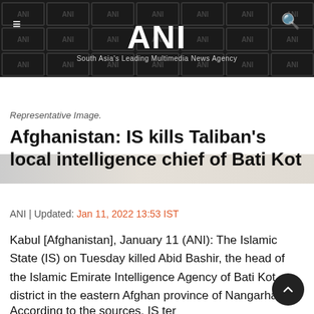ANI | South Asia's Leading Multimedia News Agency
[Figure (photo): Representative image strip at top of article]
Representative Image.
Afghanistan: IS kills Taliban's local intelligence chief of Bati Kot
ANI | Updated: Jan 11, 2022 13:53 IST
Kabul [Afghanistan], January 11 (ANI): The Islamic State (IS) on Tuesday killed Abid Bashir, the head of the Islamic Emirate Intelligence Agency of Bati Kot district in the eastern Afghan province of Nangarhar.
According to the sources, IS terror...